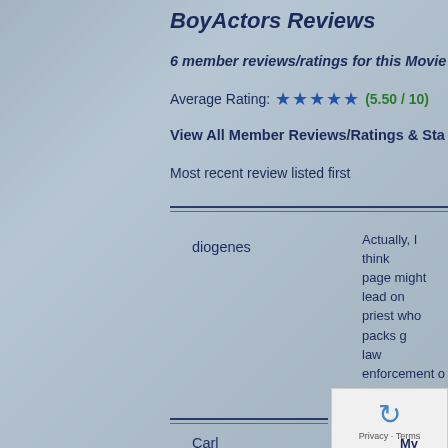BoyActors Reviews
6 member reviews/ratings for this Movie
Average Rating: ★★★★★ (5.50 / 10)
View All Member Reviews/Ratings & Sta
Most recent review listed first
diogenes
Actually, I think page might lead on priest who packs g law enforcement o before in some oth charming B-movie s
My Movie Rating:
Carl
My Movie Rating: